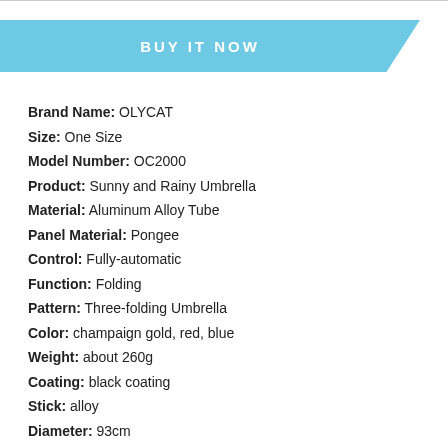[Figure (other): Blue parallelogram-shaped banner with white bold text reading BUY IT NOW]
Brand Name: OLYCAT
Size: One Size
Model Number: OC2000
Product: Sunny and Rainy Umbrella
Material: Aluminum Alloy Tube
Panel Material: Pongee
Control: Fully-automatic
Function: Folding
Pattern: Three-folding Umbrella
Color: champaign gold, red, blue
Weight: about 260g
Coating: black coating
Stick: alloy
Diameter: 93cm
Handle: plastic